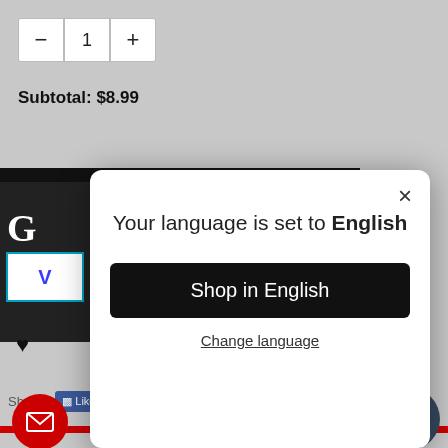[Figure (screenshot): Quantity selector with minus button, value 1, and plus button on a gray background]
Subtotal: $8.99
[Figure (screenshot): Background page content: dark bar, partial product image block with G letter and v-mark logo, heart icon, shares row with Like 0, Tweet, Save, Share buttons]
[Figure (screenshot): Modal dialog: X close button, title 'Your language is set to English', black 'Shop in English' button, 'Change language' underlined link]
HURRY! ONLY 17 LEFT IN S
[Figure (screenshot): Red circular mail/email button]
[Figure (screenshot): Dark rounded chat bubble with text 'Chatea con nosotros']